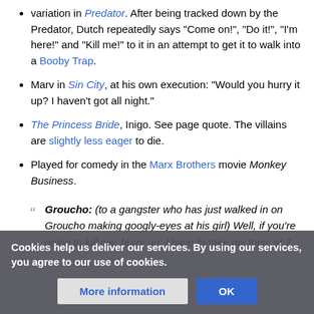variation in Predator. After being tracked down by the Predator, Dutch repeatedly says "Come on!", "Do it!", "I'm here!" and "Kill me!" to it in an attempt to get it to walk into a Booby Trap.
Marv in Sin City, at his own execution: "Would you hurry it up? I haven't got all night."
The Princess Bride, Inigo. See page quote. The villains are slightly less eager to die.
Played for comedy in the Marx Brothers movie Monkey Business.
Groucho: (to a gangster who has just walked in on Groucho making googly-eyes at his girl) Well, if you're going to kill me, hurry up; I have to take my tonic at 2.